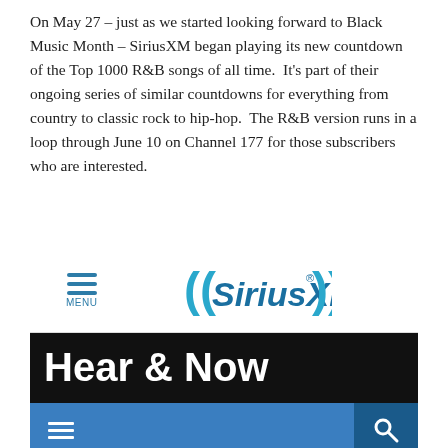On May 27 – just as we started looking forward to Black Music Month – SiriusXM began playing its new countdown of the Top 1000 R&B songs of all time. It's part of their ongoing series of similar countdowns for everything from country to classic rock to hip-hop. The R&B version runs in a loop through June 10 on Channel 177 for those subscribers who are interested.
[Figure (screenshot): Screenshot of SiriusXM website showing the navigation bar with hamburger menu and SiriusXM logo, a black banner with 'Hear & Now' title, a blue toolbar with hamburger and search icons, and a purple genre bar showing ROCK, COUNTRY, HIP-HOP, R&B, OLDIES repeated in rows.]